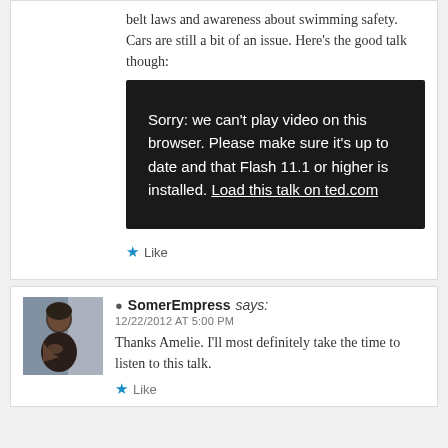belt laws and awareness about swimming safety. Cars are still a bit of an issue. Here's the good talk though:
[Figure (screenshot): Dark video player placeholder with white text: 'Sorry: we can't play video on this browser. Please make sure it's up to date and that Flash 11.1 or higher is installed. Load this talk on ted.com']
Like
SomerEmpress says:
12/22/2012 AT 5:00 PM
Thanks Amelie. I'll most definitely take the time to listen to this talk.
Like